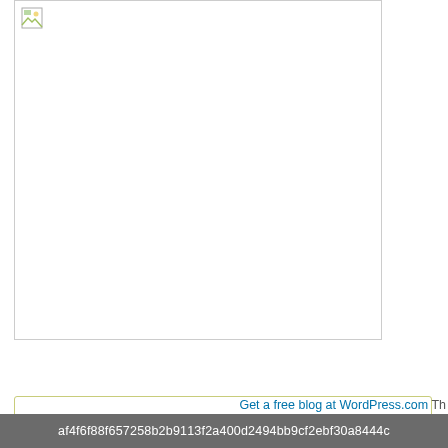[Figure (photo): Top-left image placeholder with broken image icon, white box with border]
Leave a Reply
Enter your comment here...
[Figure (logo): Link with Love circular badge in light blue with white handwritten text saying 'Link with Love']
[Figure (photo): Bottom-left image placeholder with broken image icon]
Get a free blog at WordPress.com Th
af4f6f88f657258b2b9113f2a400d2494bb9cf2ebf30a8444c